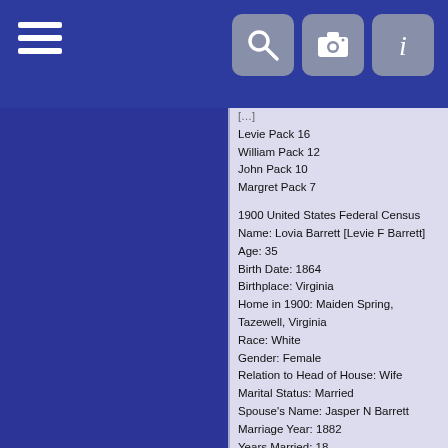Navigation bar with hamburger menu and search/camera/info icons
Levie Pack 16
William Pack 12
John Pack 10
Margret Pack 7
1900 United States Federal Census
Name: Lovia Barrett [Levie F Barrett]
Age: 35
Birth Date: 1864
Birthplace: Virginia
Home in 1900: Maiden Spring, Tazewell, Virginia
Race: White
Gender: Female
Relation to Head of House: Wife
Marital Status: Married
Spouse's Name: Jasper N Barrett
Marriage Year: 1882
Years Married: 18
Father's Birthplace: Virginia
Mother's Birthplace: Virginia
Mother: number of living children: 7
Mother: How many children: 7
Household Members:
Jasper N Barrett 42
Lovia Barrett 35
Rebecca J Barrett 16
Nancy M Barrett 14
Mary M Barrett 11